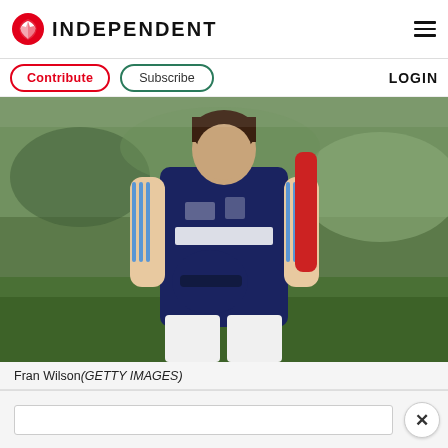INDEPENDENT
Contribute  Subscribe  LOGIN
[Figure (photo): Fran Wilson, England women's cricket player in a dark navy Waitrose/Adidas kit, holding a cricket helmet and bat, standing on a grass field.]
Fran Wilson (GETTY IMAGES)